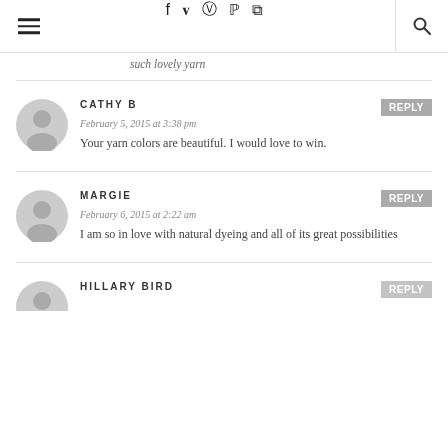Navigation header with hamburger menu, social icons (Facebook, Twitter, Instagram, Pinterest, RSS), and search
such lovely yarn
CATHY B
February 5, 2015 at 3:38 pm
Your yarn colors are beautiful. I would love to win.
MARGIE
February 6, 2015 at 2:22 am
I am so in love with natural dyeing and all of its great possibilities
HILLARY BIRD